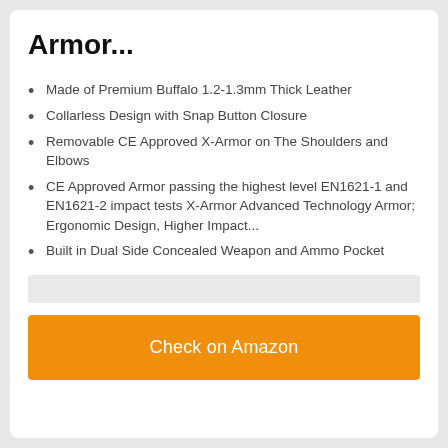Armor...
Made of Premium Buffalo 1.2-1.3mm Thick Leather
Collarless Design with Snap Button Closure
Removable CE Approved X-Armor on The Shoulders and Elbows
CE Approved Armor passing the highest level EN1621-1 and EN1621-2 impact tests X-Armor Advanced Technology Armor; Ergonomic Design, Higher Impact...
Built in Dual Side Concealed Weapon and Ammo Pocket
Check on Amazon